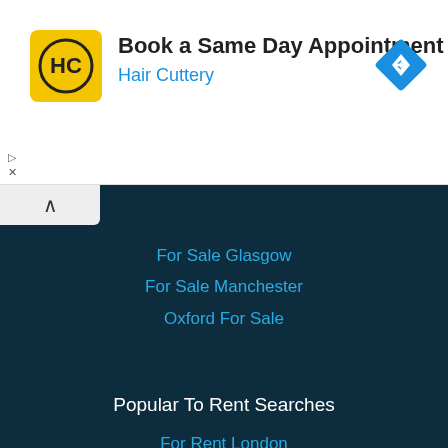[Figure (screenshot): Hair Cuttery advertisement banner with logo (HC on yellow background), text 'Book a Same Day Appointment' and 'Hair Cuttery', and a blue navigation diamond icon on the right.]
For Sale Glasgow
For Sale Manchester
Oxford For Sale
Popular To Rent Searches
For Rent London
Flat for Rent Liverpool
For rent Glasgow
For rent Manchester
Oxford For rent